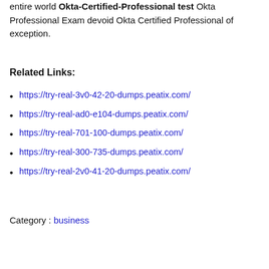entire world Okta-Certified-Professional test Okta Professional Exam devoid Okta Certified Professional of exception.
Related Links:
https://try-real-3v0-42-20-dumps.peatix.com/
https://try-real-ad0-e104-dumps.peatix.com/
https://try-real-701-100-dumps.peatix.com/
https://try-real-300-735-dumps.peatix.com/
https://try-real-2v0-41-20-dumps.peatix.com/
Category : business